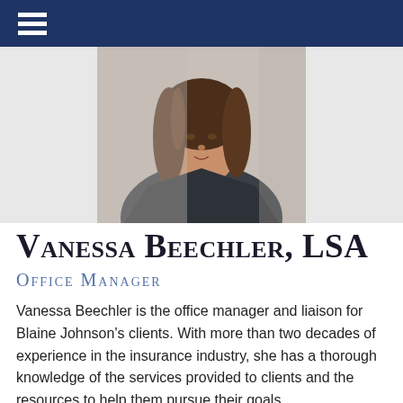≡ (navigation menu)
[Figure (photo): Professional headshot of Vanessa Beechler, a woman with long brown hair wearing a dark blazer and blue top]
Vanessa Beechler, LSA
Office Manager
Vanessa Beechler is the office manager and liaison for Blaine Johnson's clients. With more than two decades of experience in the insurance industry, she has a thorough knowledge of the services provided to clients and the resources to help them pursue their goals.